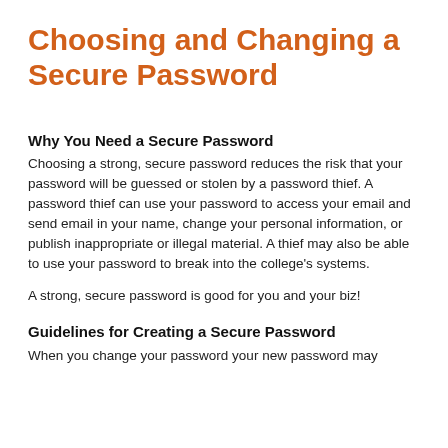Choosing and Changing a Secure Password
Why You Need a Secure Password
Choosing a strong, secure password reduces the risk that your password will be guessed or stolen by a password thief. A password thief can use your password to access your email and send email in your name, change your personal information, or publish inappropriate or illegal material. A thief may also be able to use your password to break into the college's systems.
A strong, secure password is good for you and your biz!
Guidelines for Creating a Secure Password
When you change your password your new password may